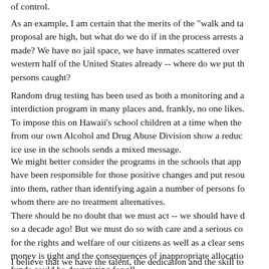of control.
As an example, I am certain that the merits of the "walk and ta proposal are high, but what do we do if in the process arrests a made? We have no jail space, we have inmates scattered over western half of the United States already -- where do we put th persons caught?
Random drug testing has been used as both a monitoring and a interdiction program in many places and, frankly, no one likes. To impose this on Hawaii's school children at a time when the from our own Alcohol and Drug Abuse Division show a reduc ice use in the schools sends a mixed message.
We might better consider the programs in the schools that app have been responsible for those positive changes and put resou into them, rather than identifying again a number of persons fo whom there are no treatment alternatives.
There should be no doubt that we must act -- we should have d so a decade ago! But we must do so with care and a serious co for the rights and welfare of our citizens as well as a clear sens money is tight and the consequences of inappropriate allocatio funds could be devastating for all.
I believe that we have the talent, the dedication and the skill to